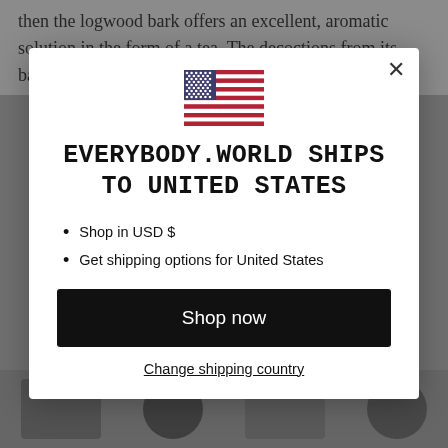then the logwood bark offers an excellent, aromatic solution in the form of a tea. The decoctions from its bark are rich in
[Figure (screenshot): Modal dialog: US flag icon at top center, bold uppercase text 'EVERYBODY.WORLD SHIPS TO UNITED STATES', bullet list with 'Shop in USD $' and 'Get shipping options for United States', black 'Shop now' button, and underlined 'Change shipping country' link. Close (X) button at top right.]
Shop in USD $
Get shipping options for United States
Shop now
Change shipping country